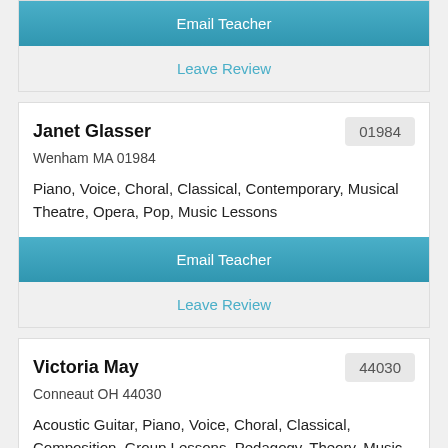[Figure (screenshot): Email Teacher button (teal/blue gradient) - top partial card]
Leave Review
Janet Glasser
01984
Wenham MA 01984
Piano, Voice, Choral, Classical, Contemporary, Musical Theatre, Opera, Pop, Music Lessons
[Figure (screenshot): Email Teacher button (teal/blue gradient) - Janet Glasser card]
Leave Review
Victoria May
44030
Conneaut OH 44030
Acoustic Guitar, Piano, Voice, Choral, Classical, Composition, Group Lessons, Pedagogy, Theory, Music Teacher
[Figure (screenshot): Email Teacher button (teal/blue gradient) - Victoria May card (partial)]